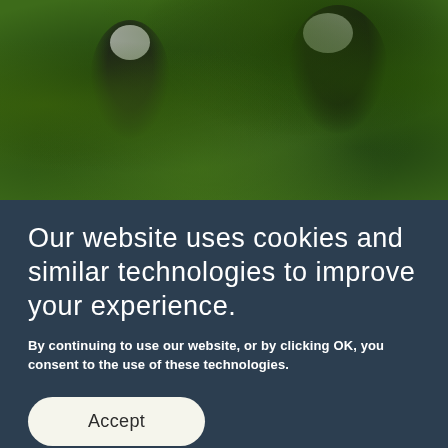[Figure (photo): Blurred photograph of black and white birds (likely puffins or similar seabirds) among green leafy foliage, viewed close-up]
Our website uses cookies and similar technologies to improve your experience.
By continuing to use our website, or by clicking OK, you consent to the use of these technologies.
Accept